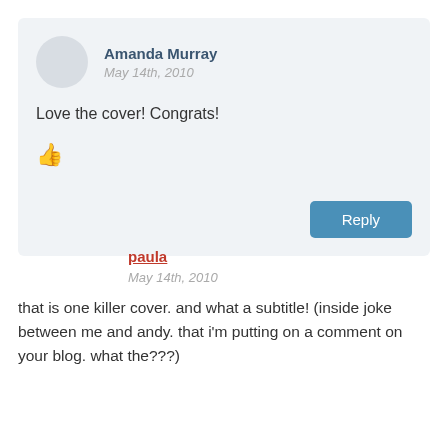Amanda Murray
May 14th, 2010
Love the cover! Congrats!
Reply
paula
May 14th, 2010
that is one killer cover. and what a subtitle! (inside joke between me and andy. that i'm putting on a comment on your blog. what the???)